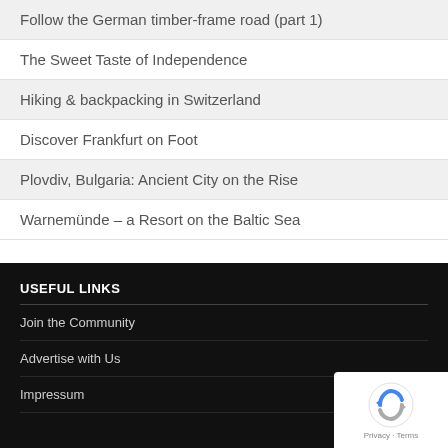Follow the German timber-frame road (part 1)
The Sweet Taste of Independence
Hiking & backpacking in Switzerland
Discover Frankfurt on Foot
Plovdiv, Bulgaria: Ancient City on the Rise
Warnemünde – a Resort on the Baltic Sea
USEFUL LINKS
Join the Community
Advertise with Us
Impressum